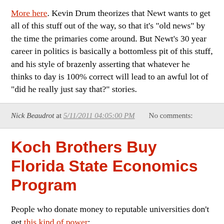More here. Kevin Drum theorizes that Newt wants to get all of this stuff out of the way, so that it's "old news" by the time the primaries come around. But Newt's 30 year career in politics is basically a bottomless pit of this stuff, and his style of brazenly asserting that whatever he thinks to day is 100% correct will lead to an awful lot of "did he really just say that?" stories.
Nick Beaudrot at 5/11/2011 04:05:00 PM   No comments:
Koch Brothers Buy Florida State Economics Program
People who donate money to reputable universities don't get this kind of power:
A foundation bankrolled by Libertarian businessman Charles G. Koch has pledged $1.5 million for positions in Florida State University's